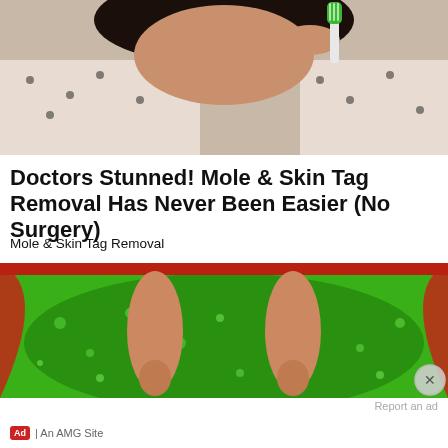[Figure (photo): Person holding a green toothbrush near their mouth, wearing a polka-dot blouse with dark hair]
Doctors Stunned! Mole & Skin Tag Removal Has Never Been Easier (No Surgery)
Mole & Skin Tag Removal
[Figure (photo): Feet soaking in a red basin filled with bright green liquid/bubbles]
Report an ad
DENTAL FOR SENIORS ON MEDICARE
Ad | An AMG Site